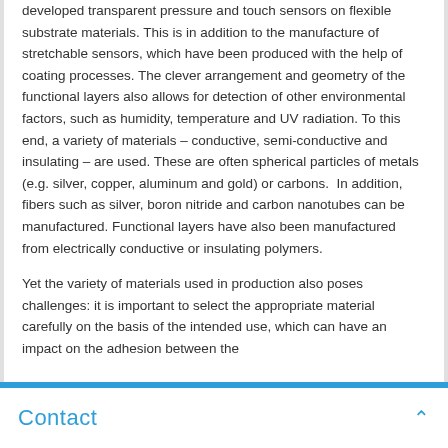developed transparent pressure and touch sensors on flexible substrate materials. This is in addition to the manufacture of stretchable sensors, which have been produced with the help of coating processes. The clever arrangement and geometry of the functional layers also allows for detection of other environmental factors, such as humidity, temperature and UV radiation. To this end, a variety of materials – conductive, semi-conductive and insulating – are used. These are often spherical particles of metals (e.g. silver, copper, aluminum and gold) or carbons.  In addition, fibers such as silver, boron nitride and carbon nanotubes can be manufactured. Functional layers have also been manufactured from electrically conductive or insulating polymers.
Yet the variety of materials used in production also poses challenges: it is important to select the appropriate material carefully on the basis of the intended use, which can have an impact on the adhesion between the…
Contact